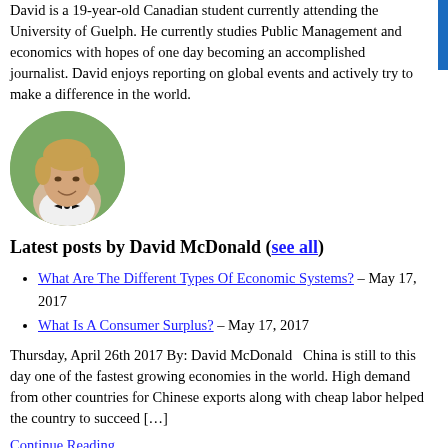David is a 19-year-old Canadian student currently attending the University of Guelph. He currently studies Public Management and economics with hopes of one day becoming an accomplished journalist. David enjoys reporting on global events and actively try to make a difference in the world.
[Figure (photo): Circular portrait photo of a young man wearing a bow tie, smiling, with greenery in the background.]
Latest posts by David McDonald (see all)
What Are The Different Types Of Economic Systems? – May 17, 2017
What Is A Consumer Surplus? – May 17, 2017
Thursday, April 26th 2017 By: David McDonald   China is still to this day one of the fastest growing economies in the world. High demand from other countries for Chinese exports along with cheap labor helped the country to succeed […]
Continue Reading